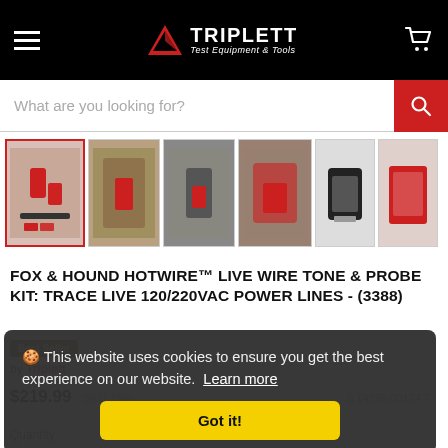Triplett Test Equipment & Tools — website header with navigation, logo, and cart
What are you looking for?
[Figure (screenshot): Product image thumbnails for Fox & Hound Hotwire kit, 6 thumbnail images with navigation arrow]
FOX & HOUND HOTWIRE™ LIVE WIRE TONE & PROBE KIT: TRACE LIVE 120/220VAC POWER LINES - (3388)
Best Seller
by Triplett
$219.99   SKU 3388   6 14395 00124 7
Quantity
🍪 This website uses cookies to ensure you get the best experience on our website.  Learn more
Got it!